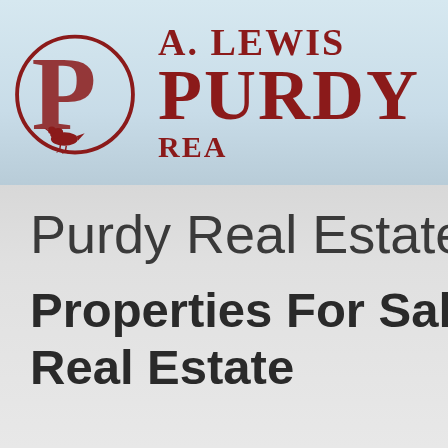[Figure (logo): A. Lewis Purdy Real Estate logo with circular P emblem containing a bird silhouette and dark red serif company name text]
Purdy Real Estate
Properties For Sale Exclusively at Purdy Real Estate